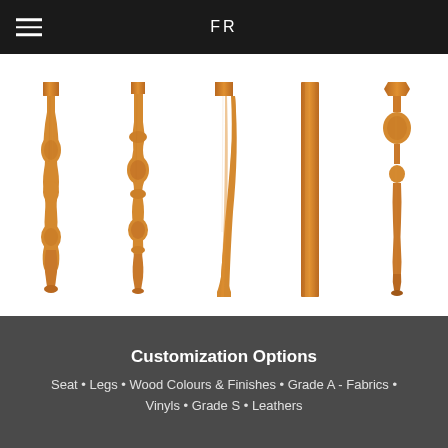FR
[Figure (illustration): Five decorative wooden furniture legs labeled B, C/E, F/G, H, and I — various turned and tapered styles in warm oak/maple finish, shown full length from top to bottom]
[Figure (illustration): Tops of the same five wooden furniture legs (B, C/E, F/G, H, I) cropped at the top — showing the second row of leg options]
Customization Options
Seat • Legs • Wood Colours & Finishes • Grade A - Fabrics • Vinyls • Grade S • Leathers